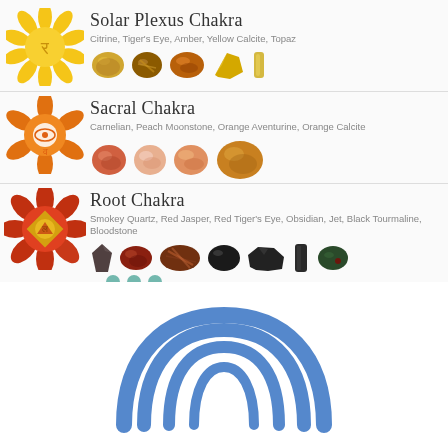[Figure (infographic): Solar Plexus Chakra section: yellow mandala chakra symbol on left, title 'Solar Plexus Chakra', subtitle listing stones: Citrine, Tiger's Eye, Amber, Yellow Calcite, Topaz, with photos of yellow/golden stones: citrine, tiger's eye, amber, yellow calcite, topaz]
[Figure (infographic): Sacral Chakra section: orange mandala chakra symbol on left, title 'Sacral Chakra', subtitle listing stones: Carnelian, Peach Moonstone, Orange Aventurine, Orange Calcite, with photos of orange/peach stones]
[Figure (infographic): Root Chakra section: red mandala chakra symbol with gold center on left, title 'Root Chakra', subtitle listing stones: Smokey Quartz, Red Jasper, Red Tiger's Eye, Obsidian, Jet, Black Tourmaline, Bloodstone, with photos of dark/black/red stones and small teal stones at bottom]
[Figure (logo): Blue arc/wave logo in lower half of page - appears to be a stylized symbol with overlapping curved arcs in steel blue color]